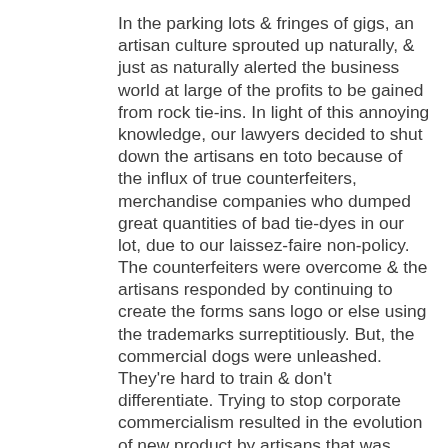In the parking lots & fringes of gigs, an artisan culture sprouted up naturally, & just as naturally alerted the business world at large of the profits to be gained from rock tie-ins. In light of this annoying knowledge, our lawyers decided to shut down the artisans en toto because of the influx of true counterfeiters, merchandise companies who dumped great quantities of bad tie-dyes in our lot, due to our laissez-faire non-policy. The counterfeiters were overcome & the artisans responded by continuing to create the forms sans logo or else using the trademarks surreptitiously. But, the commercial dogs were unleashed. They're hard to train & don't differentiate. Trying to stop corporate commercialism resulted in the evolution of new product by artisans that was reminiscent of the feel if not the logocentricity of what was already in creation. Generic. That particular bad decision didn't stymie the growth of the art, only it's GD specificity. W/o apology, that's how it went down. You see how it is. Conclusions to which we were led by the very system we tried